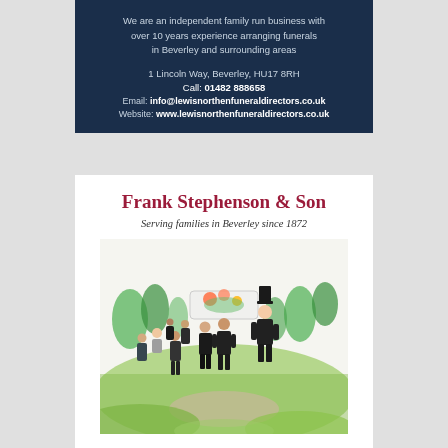[Figure (infographic): Top advertisement block for Lewis Northen Funeral Directors on dark navy background with text about being an independent family run business, address 1 Lincoln Way Beverley HU17 8RH, phone 01482 888658, email and website]
[Figure (infographic): Bottom advertisement for Frank Stephenson & Son funeral directors, serving families in Beverley since 1872, with illustration of funeral procession, and address Minster Moorgate Beverley]